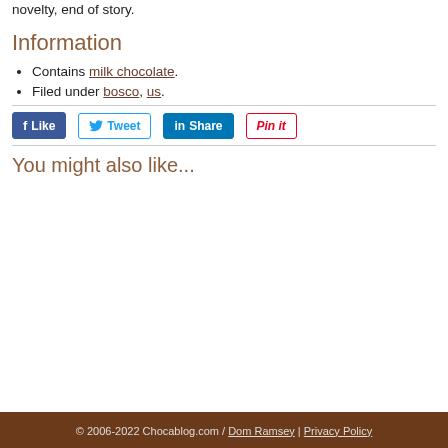that it pops up for a time just for the fun of it. Enjoy its novelty, end of story.
Information
Contains milk chocolate.
Filed under bosco, us.
[Figure (infographic): Social sharing buttons: Like (Facebook), Tweet (Twitter), Share (LinkedIn), Pin it (Pinterest)]
You might also like...
© 2006-2022 Chocablog.com / Dom Ramsey | Privacy Policy